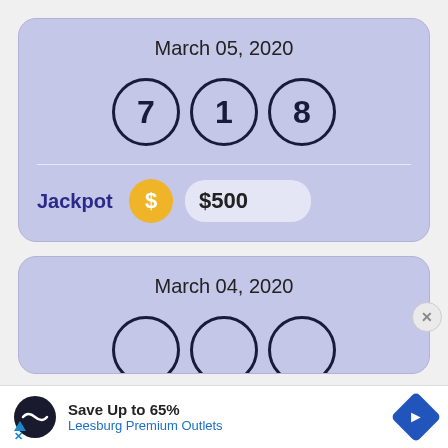[Figure (infographic): Lottery result card for March 05, 2020 showing winning numbers 7, 1, 8 and Jackpot of $500]
[Figure (infographic): Partial lottery result card for March 04, 2020 with partially visible number balls]
Save Up to 65% Leesburg Premium Outlets